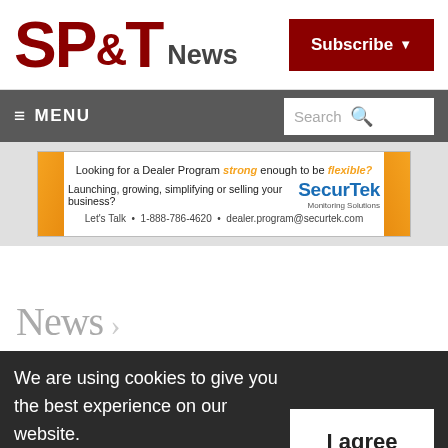[Figure (logo): SP&T News logo with dark red bold letters and 'News' in dark grey]
Subscribe
≡ MENU    Search
[Figure (infographic): SecurTek Monitoring Solutions advertisement banner. Text: Looking for a Dealer Program strong enough to be flexible? Launching, growing, simplifying or selling your business? SecurTek Monitoring Solutions. Let's Talk · 1-888-786-4620 · dealer.program@securtek.com]
News >
We are using cookies to give you the best experience on our website. By continuing to use the site, you agree to the use of cookies. To find out more, read our privacy policy.
I agree